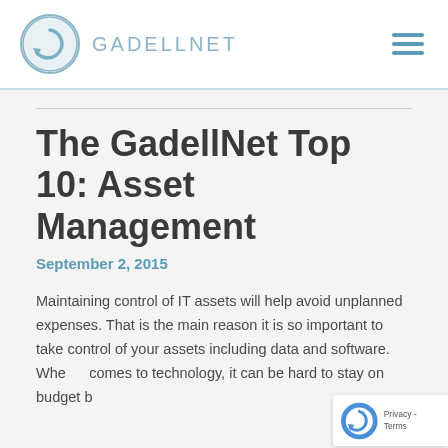GADELLNET
The GadellNet Top 10: Asset Management
September 2, 2015
Maintaining control of IT assets will help avoid unplanned expenses. That is the main reason it is so important to take control of your assets including data and software. When it comes to technology, it can be hard to stay on budget but asset management will help make this easy.